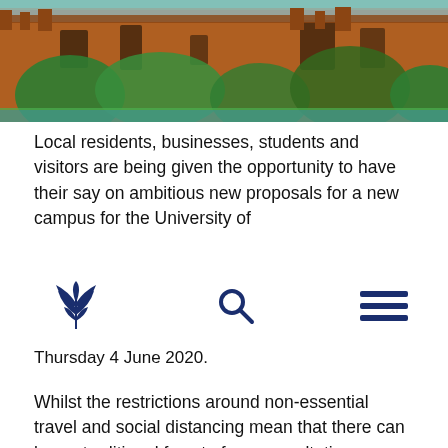[Figure (photo): Photograph of a red sandstone castle or historic building with trees in front, taken on a sunny day.]
Local residents, businesses, students and visitors are being given the opportunity to have their say on ambitious new proposals for a new campus for the University of
[Figure (logo): Cumbria County Council floral logo in dark blue, a search icon, and a hamburger menu icon — mobile navigation bar.]
Thursday 4 June 2020.
Whilst the restrictions around non-essential travel and social distancing mean that there can be no traditional face to face consultation sessions, people can instead see the suggested plans and have their say online at www.cumbria.gov.uk/CSGC.